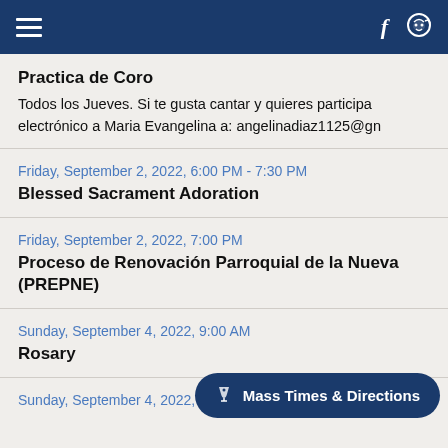Navigation header with hamburger menu, Facebook icon, and social icon
Practica de Coro
Todos los Jueves. Si te gusta cantar y quieres participa electrónico a Maria Evangelina a: angelinadiaz1125@gn
Friday, September 2, 2022, 6:00 PM - 7:30 PM
Blessed Sacrament Adoration
Friday, September 2, 2022, 7:00 PM
Proceso de Renovación Parroquial de la Nueva (PREPNE)
Sunday, September 4, 2022, 9:00 AM
Rosary
Sunday, September 4, 2022, 9:30 AM
Mass Times & Directions